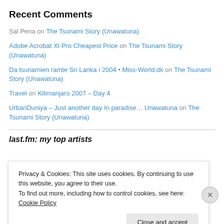Recent Comments
Sal Pena on The Tsunami Story (Unawatuna)
Adobe Acrobat XI Pro Cheapest Price on The Tsunami Story (Unawatuna)
Da tsunamien ramte Sri Lanka i 2004 • Miss-World.dk on The Tsunami Story (Unawatuna)
Travel on Kilimanjaro 2007 – Day 4
UrbanDuniya – Just another day In paradise… Unawatuna on The Tsunami Story (Unawatuna)
last.fm: my top artists
Privacy & Cookies: This site uses cookies. By continuing to use this website, you agree to their use.
To find out more, including how to control cookies, see here: Cookie Policy
Close and accept